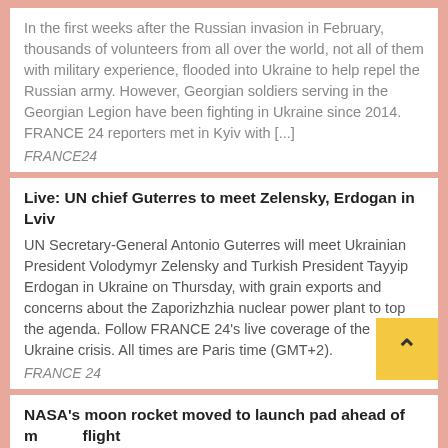In the first weeks after the Russian invasion in February, thousands of volunteers from all over the world, not all of them with military experience, flooded into Ukraine to help repel the Russian army. However, Georgian soldiers serving in the Georgian Legion have been fighting in Ukraine since 2014. FRANCE 24 reporters met in Kyiv with [...]
FRANCE24
Live: UN chief Guterres to meet Zelensky, Erdogan in Lviv
UN Secretary-General Antonio Guterres will meet Ukrainian President Volodymyr Zelensky and Turkish President Tayyip Erdogan in Ukraine on Thursday, with grain exports and concerns about the Zaporizhzhia nuclear power plant to top the agenda. Follow FRANCE 24's live coverage of the Ukraine crisis. All times are Paris time (GMT+2).
FRANCE 24
NASA's moon rocket moved to launch pad ahead of maiden flight
NASA's new moon rocket arrived at the launch pad Wednesday ahead of its debut flight in less than two